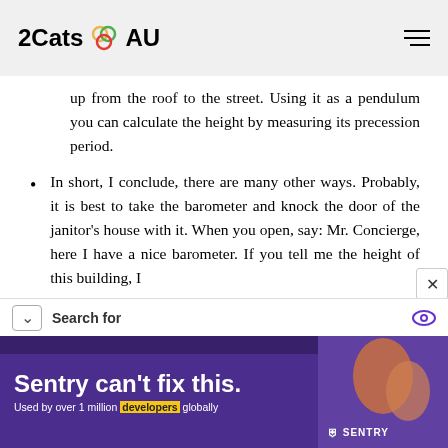2Cats AU
up from the roof to the street. Using it as a pendulum you can calculate the height by measuring its precession period.
In short, I conclude, there are many other ways. Probably, it is best to take the barometer and knock the door of the janitor's house with it. When you open, say: Mr. Concierge, here I have a nice barometer. If you tell me the height of this building, I
Search for
[Figure (screenshot): Sentry advertisement banner: 'Sentry can't fix this. Used by over 1 million developers globally']